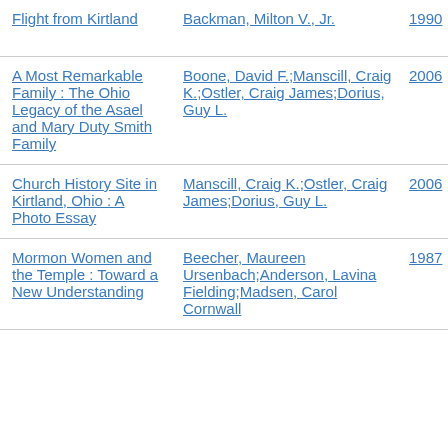| Title | Author | Year |  |
| --- | --- | --- | --- |
| Flight from Kirtland | Backman, Milton V., Jr. | 1990 | Bo Ch |
| A Most Remarkable Family : The Ohio Legacy of the Asael and Mary Duty Smith Family | Boone, David F.;Manscill, Craig K.;Ostler, Craig James;Dorius, Guy L. | 2006 | Bo Ch |
| Church History Site in Kirtland, Ohio : A Photo Essay | Manscill, Craig K.;Ostler, Craig James;Dorius, Guy L. | 2006 | Bo Ch |
| Mormon Women and the Temple : Toward a New Understanding | Beecher, Maureen Ursenbach;Anderson, Lavina Fielding;Madsen, Carol Cornwall | 1987 | Bo Ch |